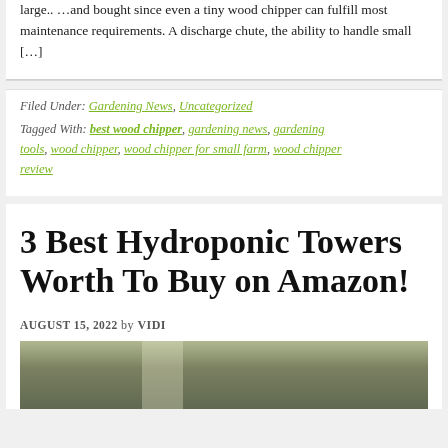large.. …and bought since even a tiny wood chipper can fulfill most maintenance requirements. A discharge chute, the ability to handle small […]
Filed Under: Gardening News, Uncategorized
Tagged With: best wood chipper, gardening news, gardening tools, wood chipper, wood chipper for small farm, wood chipper review
3 Best Hydroponic Towers Worth To Buy on Amazon!
AUGUST 15, 2022 by VIDI
[Figure (photo): Photo related to hydroponic towers, showing plants and greenery]